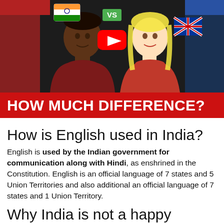[Figure (photo): YouTube thumbnail showing two people (a man with dark skin in a maroon turtleneck and a woman with blonde hair in red) with Indian and UK flags, a 'VS' label, and a YouTube play button logo on a dark background.]
HOW MUCH DIFFERENCE?
How is English used in India?
English is used by the Indian government for communication along with Hindi, as enshrined in the Constitution. English is an official language of 7 states and 5 Union Territories and also additional an official language of 7 states and 1 Union Territory.
Why India is not a happy